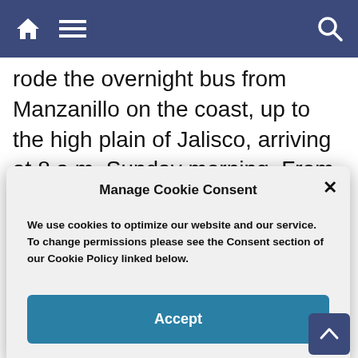Navigation bar with home, menu, and search icons
rode the overnight bus from Manzanillo on the coast, up to the high plain of Jalisco, arriving at 8 a.m. Sunday morning. From the bus station on the outskirts of
Manage Cookie Consent
We use cookies to optimize our website and our service. To change permissions please see the Consent section of our Cookie Policy linked below.
Accept
championship competitions than any other state. My guidebook listed two lienzo in the city. I called a cab and the driver attempted to find the one nearest our h
Shut and bolted, an enormous wooden gate barred the